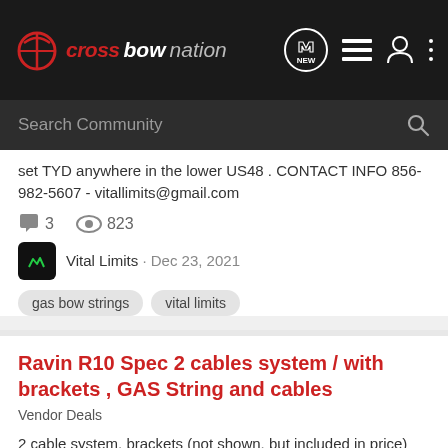crossbownation — navigation bar with logo, NEW button, list icon, user icon, menu icon
Search Community
set TYD anywhere in the lower US48 . CONTACT INFO 856-982-5607 - vitallimits@gmail.com
3   823
Vital Limits · Dec 23, 2021
gas bow strings
vital limits
Ravin R10 Spec 2 cables system / with brackets , GAS String and cables
Vendor Deals
2 cable system, brackets (not shown, but included in price) ,GAS threads , R10 spec , standard Ravin nock spec . $279.95 TYD anywhere in the lower US48. Installation option available for additional cost ...